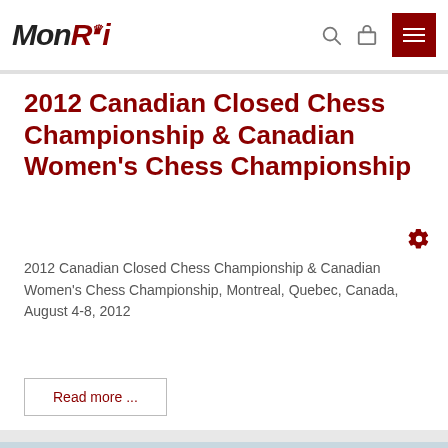MonRoi
2012 Canadian Closed Chess Championship & Canadian Women's Chess Championship
2012 Canadian Closed Chess Championship & Canadian Women's Chess Championship, Montreal, Quebec, Canada, August 4-8, 2012
Read more ...
[Figure (photo): Partial view of a chess tournament scene at the bottom of the page]